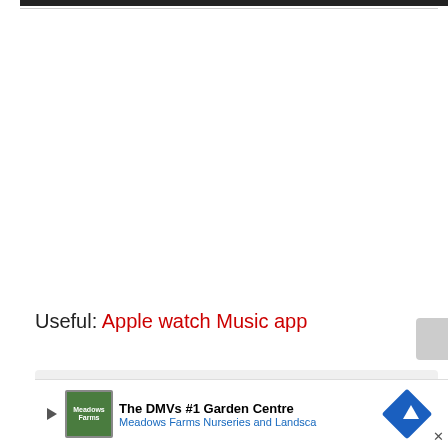Useful: Apple watch Music app
Page Contents
1. Re[mote control/Restrictions on the] Music [app]
[Figure (infographic): Advertisement banner for The DMVs #1 Garden Centre - Meadows Farms Nurseries and Landscape]